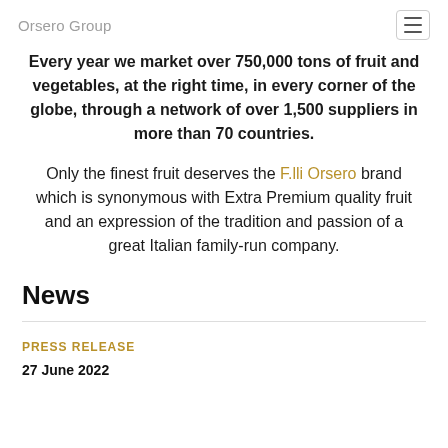Orsero Group
Every year we market over 750,000 tons of fruit and vegetables, at the right time, in every corner of the globe, through a network of over 1,500 suppliers in more than 70 countries.
Only the finest fruit deserves the F.lli Orsero brand which is synonymous with Extra Premium quality fruit and an expression of the tradition and passion of a great Italian family-run company.
News
PRESS RELEASE
27 June 2022